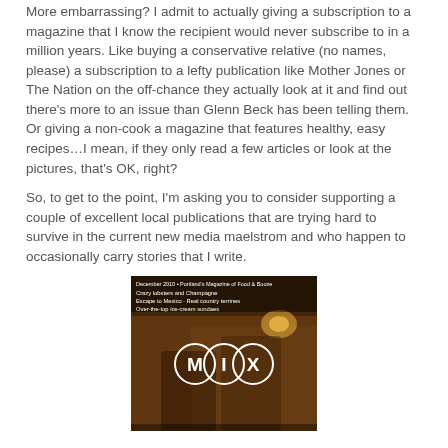More embarrassing? I admit to actually giving a subscription to a magazine that I know the recipient would never subscribe to in a million years. Like buying a conservative relative (no names, please) a subscription to a lefty publication like Mother Jones or The Nation on the off-chance they actually look at it and find out there's more to an issue than Glenn Beck has been telling them. Or giving a non-cook a magazine that features healthy, easy recipes…I mean, if they only read a few articles or look at the pictures, that's OK, right?
So, to get to the point, I'm asking you to consider supporting a couple of excellent local publications that are trying hard to survive in the current new media maelstrom and who happen to occasionally carry stories that I write.
[Figure (photo): Cover of MIX magazine showing two women in a bar/restaurant setting with the MIX logo displayed prominently. Text on cover reads: Crazy lobsters and Champagne, Escape to Mexico - Real country terrines, Over-the-top ice-cream sundaes]